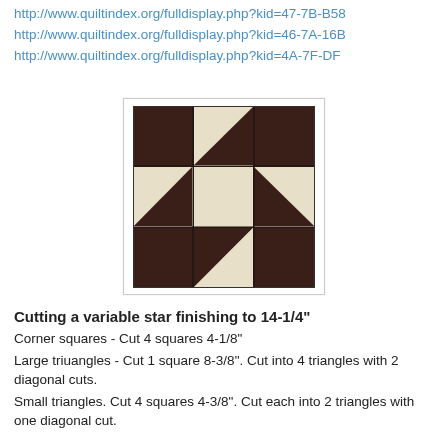http://www.quiltindex.org/fulldisplay.php?kid=47-7B-B58
http://www.quiltindex.org/fulldisplay.php?kid=46-7A-16B
http://www.quiltindex.org/fulldisplay.php?kid=4A-7F-DF
[Figure (photo): A variable star quilt block pattern showing a star made of dark brown/maroon fabric with a cream/beige floral center, arranged in a 3x3 grid of triangles and squares.]
Cutting a variable star finishing to 14-1/4"
Corner squares - Cut 4 squares 4-1/8"
Large triuangles - Cut 1 square 8-3/8". Cut into 4 triangles with 2 diagonal cuts.
Small triangles. Cut 4 squares 4-3/8". Cut each into 2 triangles with one diagonal cut.